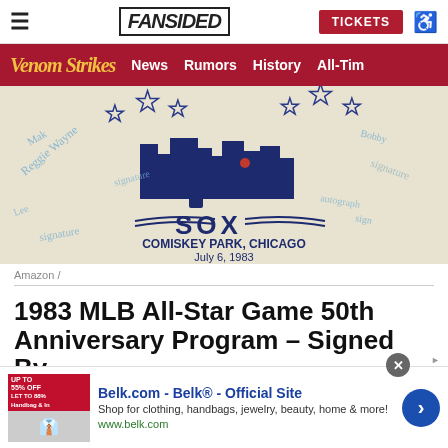FanSided — TICKETS
Venom Strikes — News Rumors History All-Tim
[Figure (photo): Signed 1983 MLB All-Star Game program at Comiskey Park, Chicago, July 6, 1983. Features Chicago White Sox SOX logo with city skyline, stars, and numerous player autographs.]
Amazon /
1983 MLB All-Star Game 50th Anniversary Program – Signed By
[Figure (other): Advertisement banner: Belk.com - Belk® - Official Site. Shop for clothing, handbags, jewelry, beauty, home & more! www.belk.com]